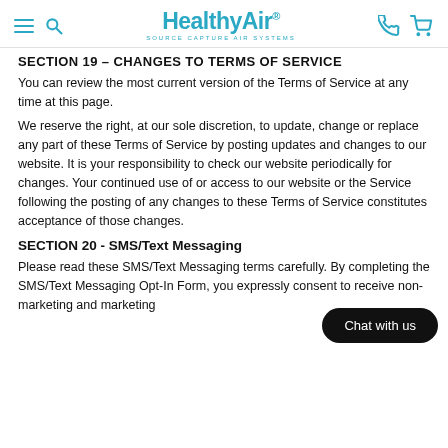HealthyAir® SOURCE CAPTURE AIR SYSTEMS
SECTION 19 – CHANGES TO TERMS OF SERVICE
You can review the most current version of the Terms of Service at any time at this page.
We reserve the right, at our sole discretion, to update, change or replace any part of these Terms of Service by posting updates and changes to our website. It is your responsibility to check our website periodically for changes. Your continued use of or access to our website or the Service following the posting of any changes to these Terms of Service constitutes acceptance of those changes.
SECTION 20 - SMS/Text Messaging
Please read these SMS/Text Messaging terms carefully. By completing the SMS/Text Messaging Opt-In Form, you expressly consent to receive non-marketing and marketing